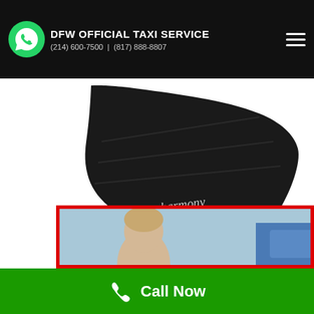DFW OFFICIAL TAXI SERVICE (214) 600-7500 | (817) 888-8807
[Figure (photo): Black Harmony booster car seat with red seat belt buckle clip, viewed from a front-angle perspective on a white background]
[Figure (photo): Child in a car seat, photo partially visible, framed with a red border]
Call Now